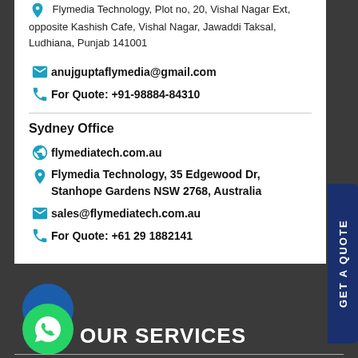Flymedia Technology, Plot no, 20, Vishal Nagar Ext, opposite Kashish Cafe, Vishal Nagar, Jawaddi Taksal, Ludhiana, Punjab 141001
anujguptaflymedia@gmail.com
For Quote: +91-98884-84310
Sydney Office
flymediatech.com.au
Flymedia Technology, 35 Edgewood Dr, Stanhope Gardens NSW 2768, Australia
sales@flymediatech.com.au
For Quote: +61 29 1882141
GET A QUOTE
OUR SERVICES